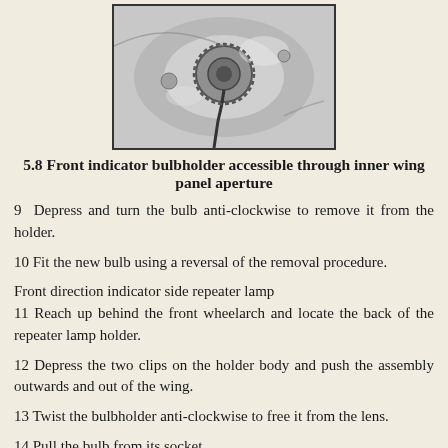[Figure (photo): Close-up photograph of a front indicator bulbholder accessible through inner wing panel aperture, showing metallic components and wiring.]
5.8 Front indicator bulbholder accessible through inner wing panel aperture
9  Depress and turn the bulb anti-clockwise to remove it from the holder.
10  Fit the new bulb using a reversal of the removal procedure.
Front direction indicator side repeater lamp
11  Reach up behind the front wheelarch and locate the back of the repeater lamp holder.
12  Depress the two clips on the holder body and push the assembly outwards and out of the wing.
13  Twist the bulbholder anti-clockwise to free it from the lens.
14  Pull the bulb from its socket.
15  Refit a new bulb and fit the assembly into the aperture...